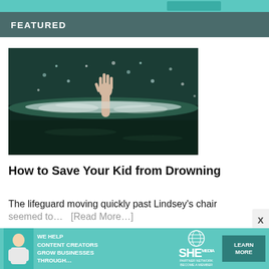[Figure (other): Teal decorative bar at top of page with a button element]
FEATURED
[Figure (photo): A person's hand reaching up out of dark water with splashing water drops around it — drowning rescue scene]
How to Save Your Kid from Drowning
The lifeguard moving quickly past Lindsey's chair seemed to… [Read More…]
[Figure (other): Advertisement banner for SHE Media Partner Network: 'We help content creators grow businesses through…' with a Learn More button]